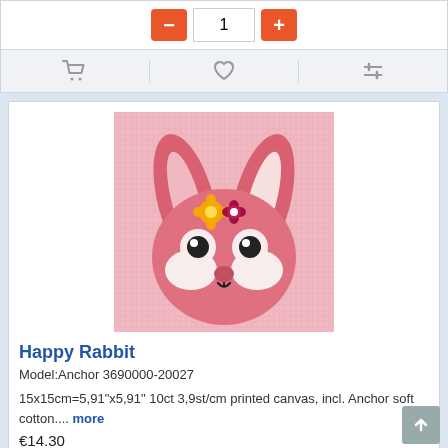[Figure (screenshot): Quantity selector with minus and plus orange buttons and number 1 in input field]
[Figure (screenshot): Action bar with cart icon, heart/wishlist icon, and compare icon]
[Figure (illustration): Cross-stitch needlepoint canvas showing a pink rabbit face with white cheeks, black eyes, small nose, and flowers on top of head (yellow and dark pink/red)]
Happy Rabbit
Model:Anchor 3690000-20027
15x15cm=5,91"x5,91" 10ct 3,9st/cm printed canvas, incl. Anchor soft cotton.... more
€14.30